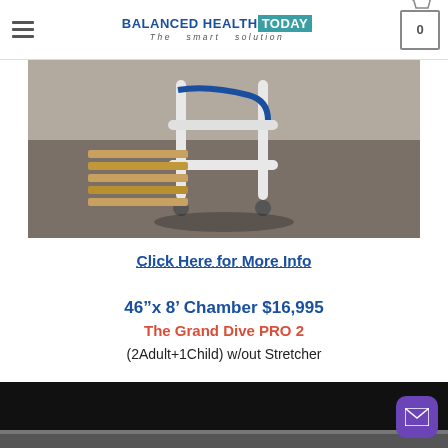BALANCED HEALTH TODAY The smart solution | Cart: 0
[Figure (photo): Photo showing underside/base of a hyperbaric chamber on wheels (PVC frame with casters) and wooden slat structure on a gray carpet floor]
Click Here for More Info
46”x 8’ Chamber $16,995
The Grand Dive PRO 2
(2Adult+1Child) w/out Stretcher
[Figure (photo): Dark/black background photo area at bottom of page, partially visible content]